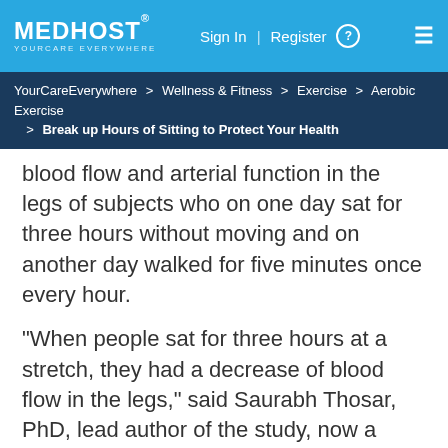MEDHOST YOURCARE EVERYWHERE | Sign In | Register
YourCareEverywhere > Wellness & Fitness > Exercise > Aerobic Exercise > Break up Hours of Sitting to Protect Your Health
blood flow and arterial function in the legs of subjects who on one day sat for three hours without moving and on another day walked for five minutes once every hour.
“When people sat for three hours at a stretch, they had a decrease of blood flow in the legs,” said Saurabh Thosar, PhD, lead author of the study, now a postdoctoral researcher with the Oregon Institute of Occupational Health Sciences in Portland. Gravity plays a role: “When you’re sitting, your legs are lower than your heart, and it requires effort on the part of leg muscles and vessels to pump blood back to the heart.”